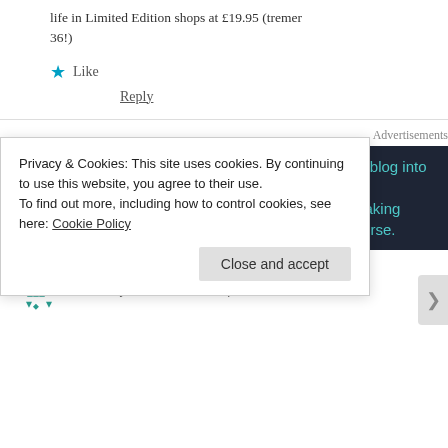life in Limited Edition shops at £19.95 (tremer 36!)
★ Like
Reply
[Figure (infographic): Advertisement banner with dark background showing a bonsai tree icon and text: Turn your blog into a money-making online course.]
Advertisements
lvr70 says: February 11, 2020 at 9:51 pm
Privacy & Cookies: This site uses cookies. By continuing to use this website, you agree to their use. To find out more, including how to control cookies, see here: Cookie Policy